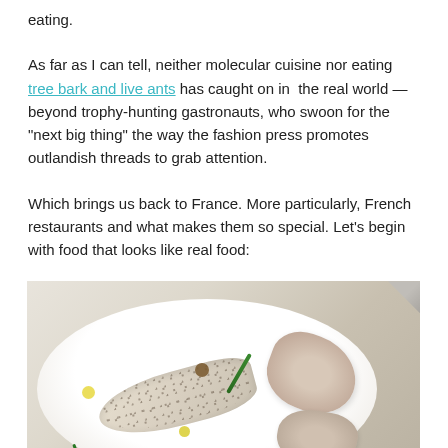eating.
As far as I can tell, neither molecular cuisine nor eating tree bark and live ants has caught on in the real world — beyond trophy-hunting gastronauts, who swoon for the "next big thing" the way the fashion press promotes outlandish threads to grab attention.
Which brings us back to France. More particularly, French restaurants and what makes them so special. Let's begin with food that looks like real food:
[Figure (photo): An overhead shot of a fine dining plate on a white surface, showing seared fish fillet with black pepper, lobster or shellfish pieces, green asparagus, yellow sauce dots, and small brown and red garnishes.]